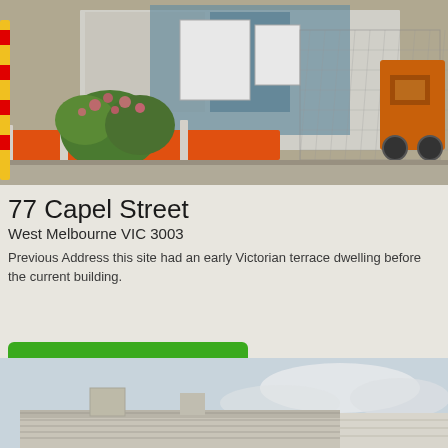[Figure (photo): Street-level photo of a construction site at 77 Capel Street, showing orange traffic barriers, green shrubs with pink flowers, construction fencing, white panels/signage, and yellow machinery in the background.]
77 Capel Street
West Melbourne VIC 3003
Previous Address this site had an early Victorian terrace dwelling before the current building.
More Detail
[Figure (photo): Partial photo at the bottom showing the roofline of a building with grey/white corrugated roof panels against a light overcast sky.]